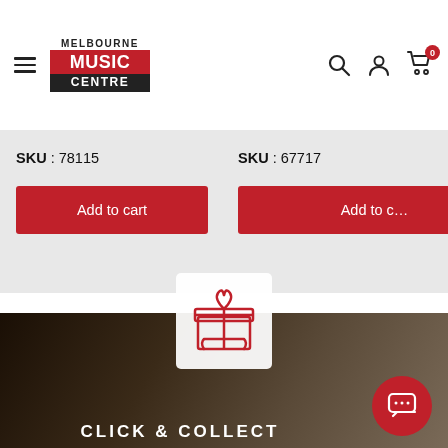Melbourne Music Centre — navigation header with logo, hamburger menu, search, account, and cart icons
SKU : 78115
Add to cart
SKU : 67717
Add to c…
[Figure (illustration): Gift box icon on white rounded square background]
CLICK & COLLECT